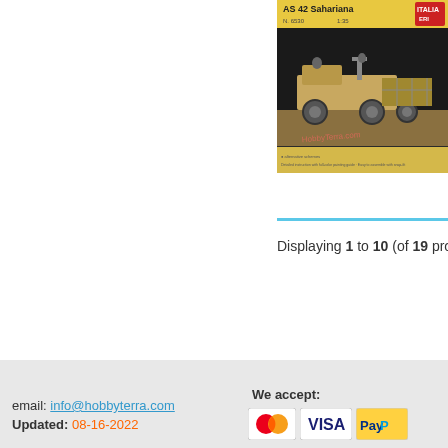[Figure (photo): Product photo of Italeri AS 42 Sahariana model kit box, N. 6530, scale 1:35, showing a military desert vehicle on the box art with 'HobbyTerra.com' watermark]
Displaying 1 to 10 (of 19 products)
email: info@hobbyterra.com Updated: 08-16-2022 We accept: MasterCard VISA PayPal